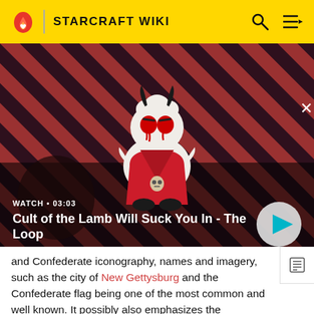STARCRAFT WIKI
[Figure (screenshot): Video thumbnail for 'Cult of the Lamb Will Suck You In - The Loop' showing a cartoon lamb character against a red diagonal striped background with WATCH • 03:03 label and play button]
WATCH • 03:03
Cult of the Lamb Will Suck You In - The Loop
and Confederate iconography, names and imagery, such as the city of New Gettysburg and the Confederate flag being one of the most common and well known. It possibly also emphasizes the stereotypical "red-neck" style of speech and attitude